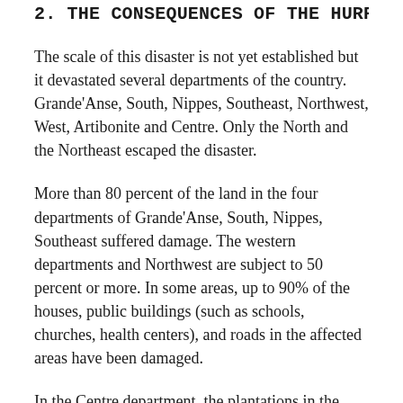2. THE CONSEQUENCES OF THE HURRICANE
The scale of this disaster is not yet established but it devastated several departments of the country. Grande'Anse, South, Nippes, Southeast, Northwest, West, Artibonite and Centre. Only the North and the Northeast escaped the disaster.
More than 80 percent of the land in the four departments of Grande'Anse, South, Nippes, Southeast suffered damage. The western departments and Northwest are subject to 50 percent or more. In some areas, up to 90% of the houses, public buildings (such as schools, churches, health centers), and roads in the affected areas have been damaged.
In the Centre department, the plantations in the hills were devastated and many animals, especially the goats, have died.